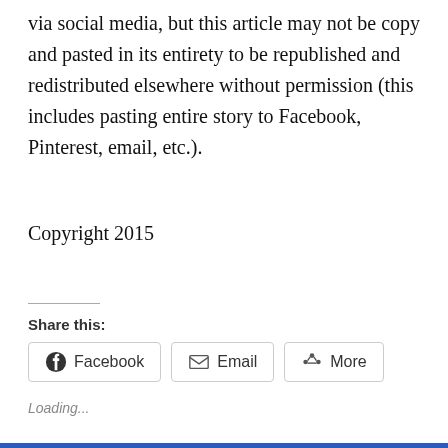via social media, but this article may not be copy and pasted in its entirety to be republished and redistributed elsewhere without permission (this includes pasting entire story to Facebook, Pinterest, email, etc.).
Copyright 2015
Share this:
[Figure (screenshot): Share buttons for Facebook, Email, and More]
Loading...